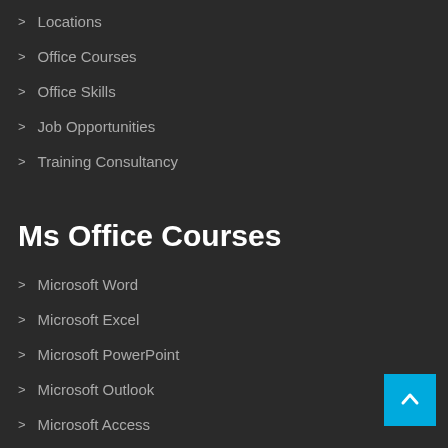Locations
Office Courses
Office Skills
Job Opportunities
Training Consultancy
Ms Office Courses
Microsoft Word
Microsoft Excel
Microsoft PowerPoint
Microsoft Outlook
Microsoft Access
Microsoft Project